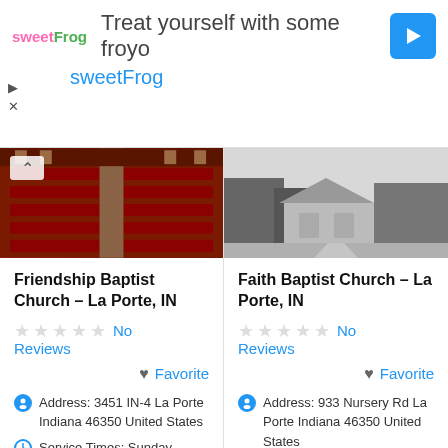[Figure (screenshot): sweetFrog advertisement banner: 'Treat yourself with some froyo' with sweetFrog logo and blue navigation arrow icon]
[Figure (photo): Interior photo of church with red wooden pews]
[Figure (photo): Exterior black and white photo of Faith Baptist Church building]
Friendship Baptist Church – La Porte, IN
No Reviews
Favorite
Address: 3451 IN-4 La Porte Indiana 46350 United States
Service Times: Sunday School 10, Sunday Morning 11, Sunday
Faith Baptist Church – La Porte, IN
No Reviews
Favorite
Address: 933 Nursery Rd La Porte Indiana 46350 United States
Service Times: Sunday School 9:45, Sunday Morning 11, Sunday